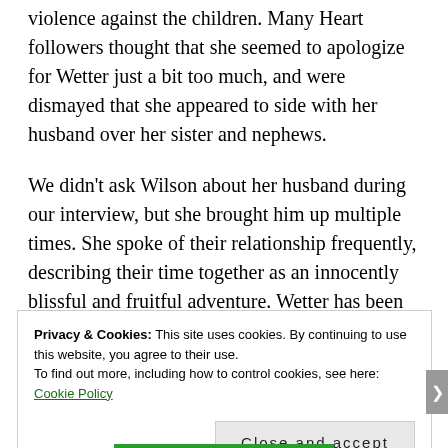violence against the children. Many Heart followers thought that she seemed to apologize for Wetter just a bit too much, and were dismayed that she appeared to side with her husband over her sister and nephews.
We didn't ask Wilson about her husband during our interview, but she brought him up multiple times. She spoke of their relationship frequently, describing their time together as an innocently blissful and fruitful adventure. Wetter has been touring with Wilson, and when they're on the road they live together on her bus.
Privacy & Cookies: This site uses cookies. By continuing to use this website, you agree to their use. To find out more, including how to control cookies, see here: Cookie Policy
Close and accept